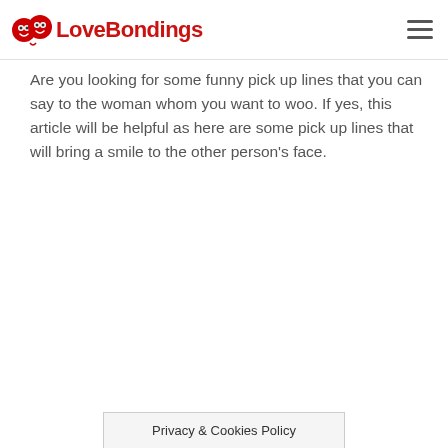LoveBondings
Are you looking for some funny pick up lines that you can say to the woman whom you want to woo. If yes, this article will be helpful as here are some pick up lines that will bring a smile to the other person’s face.
Privacy & Cookies Policy